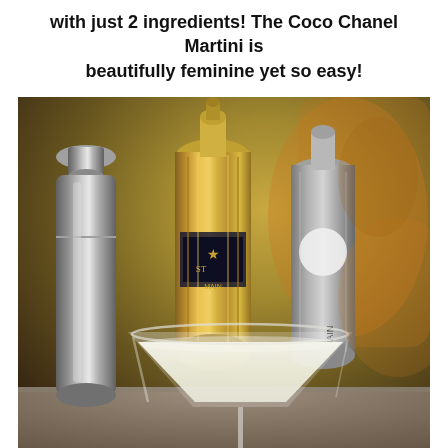with just 2 ingredients! The Coco Chanel Martini is beautifully feminine yet so easy!
[Figure (photo): A martini glass filled with a creamy white cocktail in the foreground, with a ornate gold bottle (Goldschlager or similar spirit) and a silver cocktail shaker on the left, and another silver/metallic bottle in the background. The setting appears to be a home bar or kitchen counter.]